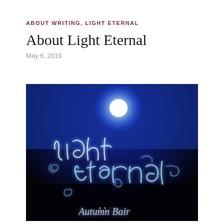ABOUT WRITING, LIGHT ETERNAL
About Light Eternal
May 6, 2019
[Figure (photo): Light painting photograph showing the words 'Light Eternal' written in glowing white cursive light against a dark blue/black background, with a bright blue light source at the top. The text 'Autumn Bair' is partially visible at the bottom.]